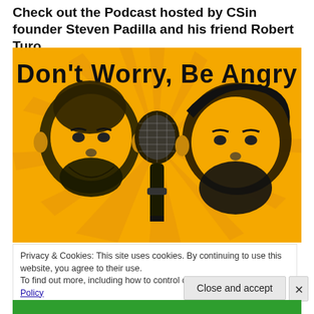Check out the Podcast hosted by CSin founder Steven Padilla and his friend Robert Turo
[Figure (illustration): Podcast cover art with yellow background and sunburst rays. Text at top reads 'Don't Worry, Be Angry' in bold black font. Two stylized black-on-yellow portraits of men flank a microphone in the center.]
Privacy & Cookies: This site uses cookies. By continuing to use this website, you agree to their use.
To find out more, including how to control cookies, see here: Cookie Policy
Close and accept